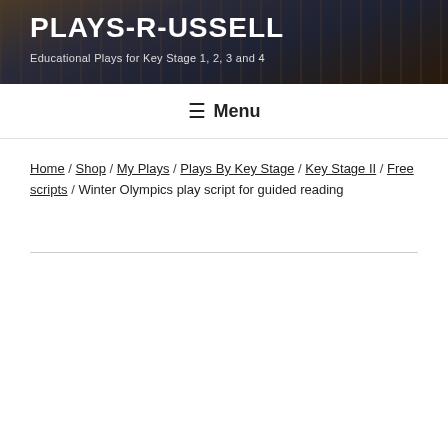PLAYS-R-USSELL
Educational Plays for Key Stage 1, 2, 3 and 4
☰ Menu
Home / Shop / My Plays / Plays By Key Stage / Key Stage II / Free scripts / Winter Olympics play script for guided reading